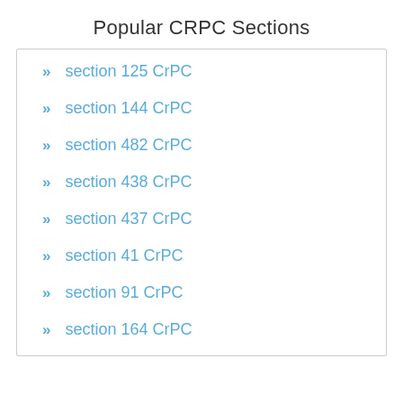Popular CRPC Sections
section 125 CrPC
section 144 CrPC
section 482 CrPC
section 438 CrPC
section 437 CrPC
section 41 CrPC
section 91 CrPC
section 164 CrPC